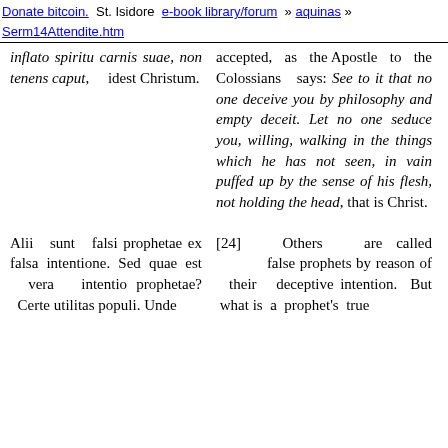Donate bitcoin.  St. Isidore  e-book library/forum » aquinas » Serm14Attendite.htm
inflato spiritu carnis suae, non tenens caput, idest Christum.
accepted, as the Apostle to the Colossians says: See to it that no one deceive you by philosophy and empty deceit. Let no one seduce you, willing, walking in the things which he has not seen, in vain puffed up by the sense of his flesh, not holding the head, that is Christ.
Alii sunt falsi prophetae ex falsa intentione. Sed quae est vera intentio prophetae? Certe utilitas populi. Unde
[24] Others are called false prophets by reason of their deceptive intention. But what is a prophet's true